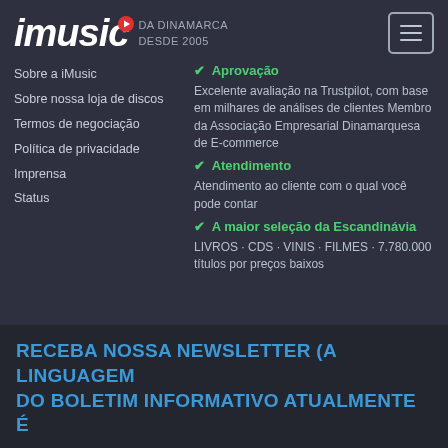imusic DA DINAMARCA DESDE 2005
Sobre a iMusic
Sobre nossa loja de discos
Termos de negociação
Política de privacidade
Imprensa
Status
✔ Aprovação
Excelente avaliação na Trustpilot, com base em milhares de análises de clientes Membro da Associação Empresarial Dinamarquesa de E-commerce
✔ Atendimento
Atendimento ao cliente com o qual você pode contar
✔ A maior seleção da Escandinávia
LIVROS · CDS · VINIS · FILMES · 7.780.000 títulos por preços baixos
RECEBA NOSSA NEWSLETTER (A LINGUAGEM DO BOLETIM INFORMATIVO ATUALMENTE É